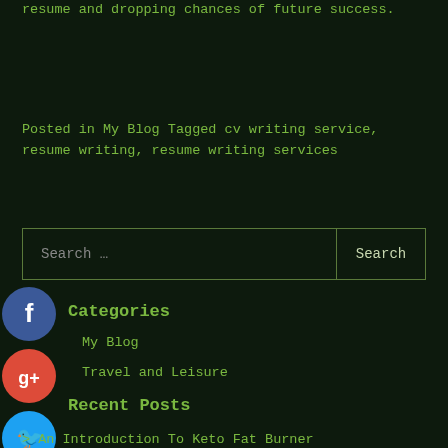resume and dropping chances of future success.
Posted in My Blog Tagged cv writing service, resume writing, resume writing services
[Figure (screenshot): Search bar with text input 'Search ...' and a Search button, styled with green border on dark background]
[Figure (infographic): Social media icons: Facebook (blue circle with f), Google+ (red circle with g+), Twitter (blue circle with bird), Plus (blue circle with +)]
Categories
My Blog
Travel and Leisure
Recent Posts
> An Introduction To Keto Fat Burner
> What Is A Mini Certified Mechanic And How